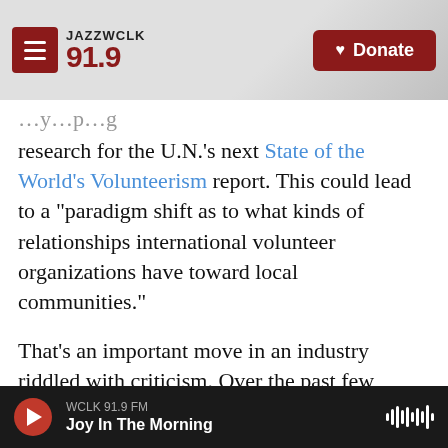JAZZWCLK 91.9 — Donate
research for the U.N.'s next State of the World's Volunteerism report. This could lead to a "paradigm shift as to what kinds of relationships international volunteer organizations have toward local communities."
That's an important move in an industry riddled with criticism. Over the past few decades, critics and activists have been urging volunteer abroad organizations to rethink their business model.
They say sending volunteers from rich nations to low-income countries perpetuates the white savior
WCLK 91.9 FM — Joy In The Morning